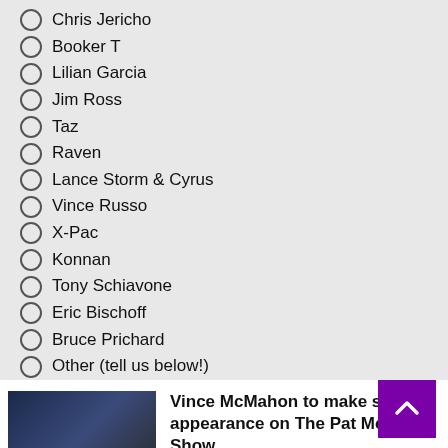Chris Jericho
Booker T
Lilian Garcia
Jim Ross
Taz
Raven
Lance Storm & Cyrus
Vince Russo
X-Pac
Konnan
Tony Schiavone
Eric Bischoff
Bruce Prichard
Other (tell us below!)
VOTE  VIEW
pollcode.com free polls
[Figure (photo): Thumbnail image of Vince McMahon]
Vince McMahon to make special appearance on The Pat McAfee Show
February 27, 2022